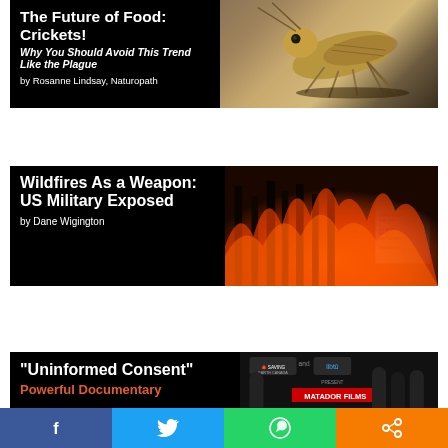[Figure (photo): Article card with cricket photo on black background. Title: The Future of Food: Crickets! Subtitle: Why You Should Avoid This Trend Like the Plague. Byline: by Rosanne Lindsay, Naturopath]
[Figure (photo): Article card with wildfire/forest fire image and document overlay on black background. Title: Wildfires As a Weapon: US Military Exposed. Byline: by Dane Wigington]
[Figure (photo): Article card for Uninformed Consent documentary on black background. Title: Uninformed Consent. Subtitle: Powerful Documentary]
[Figure (infographic): Social media sharing bar at bottom with Facebook, Twitter, WhatsApp, and Share buttons]